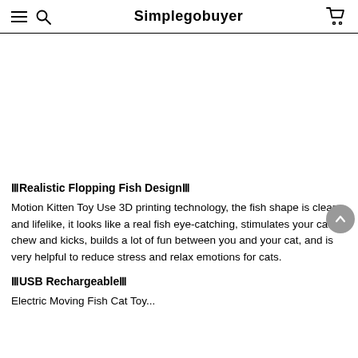Simplegobuyer
[Figure (photo): White/blank image area where a product photo would appear]
🟥Realistic Flopping Fish Design🟥
Motion Kitten Toy Use 3D printing technology, the fish shape is clear and lifelike, it looks like a real fish eye-catching, stimulates your cat to chew and kicks, builds a lot of fun between you and your cat, and is very helpful to reduce stress and relax emotions for cats.
🟥USB Rechargeable🟥
Electric Moving Fish Cat Toy...